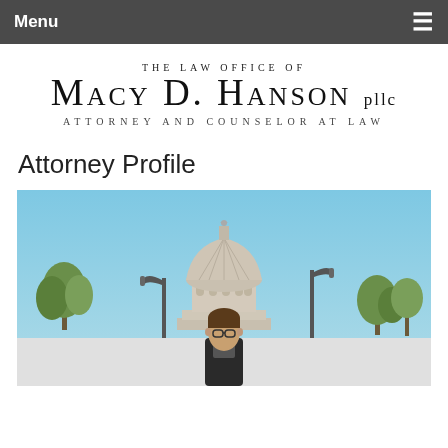Menu ≡
[Figure (logo): The Law Office of Macy D. Hanson PLLC Attorney and Counselor at Law — law firm logo with stylized small-caps text]
Attorney Profile
[Figure (photo): Outdoor photo of attorney standing in front of a state capitol building dome under a blue sky, with trees and a street lamp visible]